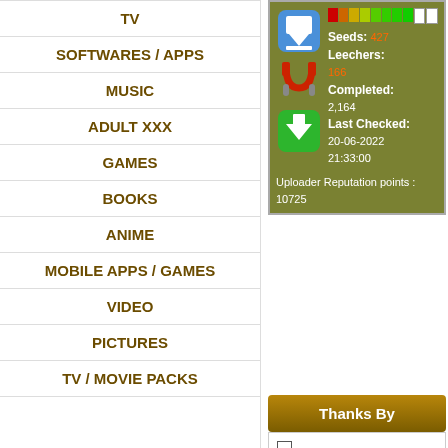TV
SOFTWARES / APPS
MUSIC
ADULT XXX
GAMES
BOOKS
ANIME
MOBILE APPS / GAMES
VIDEO
PICTURES
TV / MOVIE PACKS
[Figure (infographic): Torrent info box with green background showing seeds 427, leechers 166, completed 2,164, last checked 20-06-2022 21:33:00, uploader reputation points 10725. Icons for torrent, magnet, and download shown on left.]
Thanks By
Latest Forums Topics
Service Socks5 Cheap - Check Socks5 latest post by Shopsocks
MP3 NEW RELEASES 2022 WEEK 22 - [GloDLS] latest post by
[Figure (infographic): Write a Review for the Uploader section with green bar showing 155, Say Thanks with one good review button with plus circle]